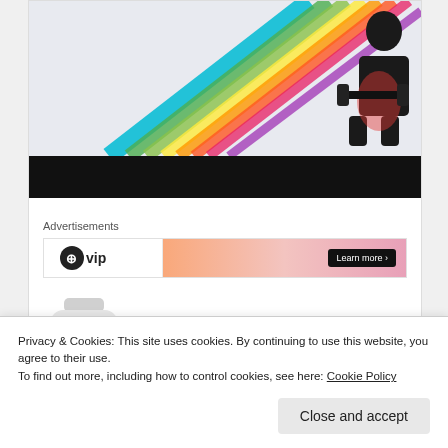[Figure (photo): Partial view of webpage showing hero image with rainbow-colored stripes and a person doing exercise at top right, followed by a black bar beneath]
Advertisements
[Figure (photo): Advertisement banner with VIP logo on left and gradient orange-pink background on right with 'Learn more' button]
[Figure (photo): Product images: a white supplement bottle on the left and a teal/white product box (Cellgevity) on the right]
Privacy & Cookies: This site uses cookies. By continuing to use this website, you agree to their use.
To find out more, including how to control cookies, see here: Cookie Policy
Close and accept